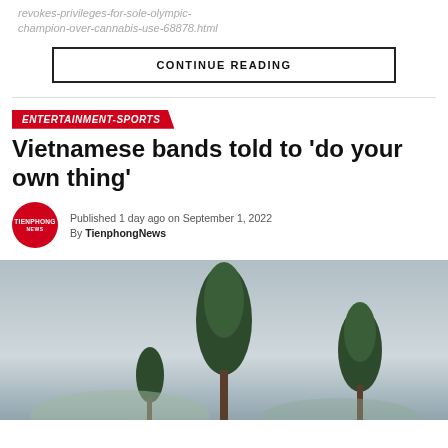revokes-privileges-for-sole-olympic-champion-over-cannabis-use-68878.html
CONTINUE READING
ENTERTAINMENT-SPORTS
Vietnamese bands told to ‘do your own thing’
Published 1 day ago on September 1, 2022
By TienphongNews
[Figure (photo): Photo of tall pine trees against a grey overcast sky]